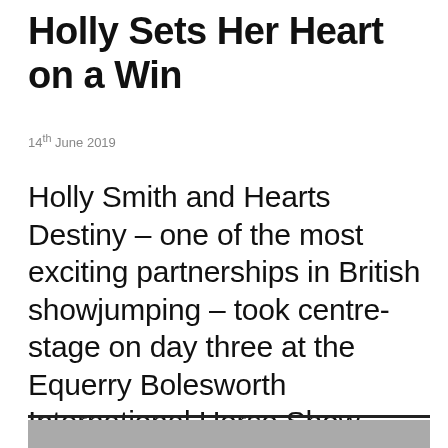Holly Sets Her Heart on a Win
14th June 2019
Holly Smith and Hearts Destiny – one of the most exciting partnerships in British showjumping – took centre-stage on day three at the Equerry Bolesworth International Horse Show.
[Figure (photo): Partial photo strip at the bottom of the page, showing a crowd or equestrian event scene]